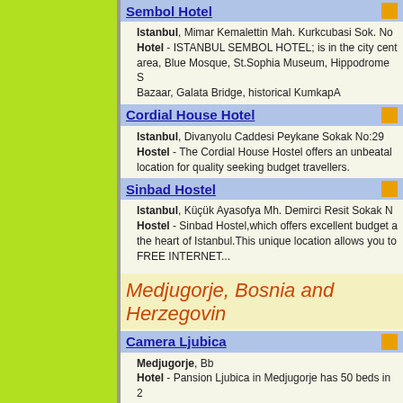Sembol Hotel - Istanbul, Mimar Kemalettin Mah. Kurkcubasi Sok. No Hotel - ISTANBUL SEMBOL HOTEL; is in the city centre area, Blue Mosque, St.Sophia Museum, Hippodrome S Bazaar, Galata Bridge, historical KumkapA
Cordial House Hotel - Istanbul, Divanyolu Caddesi Peykane Sokak No:29 Hostel - The Cordial House Hostel offers an unbeatable location for quality seeking budget travellers.
Sinbad Hostel - Istanbul, Küçük Ayasofya Mh. Demirci Resit Sokak N Hostel - Sinbad Hostel,which offers excellent budget a the heart of Istanbul.This unique location allows you to FREE INTERNET...
Medjugorje, Bosnia and Herzegovina
Camera Ljubica - Medjugorje, Bb Hotel - Pansion Ljubica in Medjugorje has 50 beds in 2 pilgrims, who come in Medjugorje, throughout the whole
Pansion Gagro - Medjugorje, Put Za Capljinu Bb Pension - Pansion Gagro is located in a very quiet pa spiritually recharge for a better life in future.